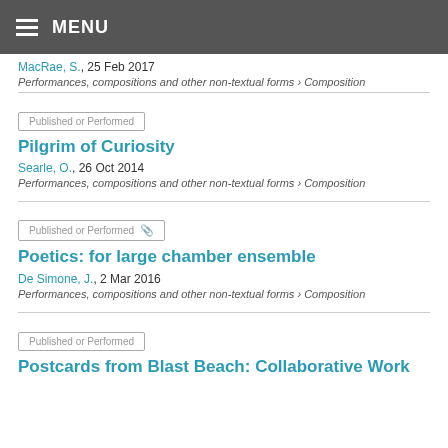MENU
MacRae, S., 25 Feb 2017
Performances, compositions and other non-textual forms › Composition
Published or Performed
Pilgrim of Curiosity
Searle, O., 26 Oct 2014
Performances, compositions and other non-textual forms › Composition
Published or Performed
Poetics: for large chamber ensemble
De Simone, J., 2 Mar 2016
Performances, compositions and other non-textual forms › Composition
Published or Performed
Postcards from Blast Beach: Collaborative Work